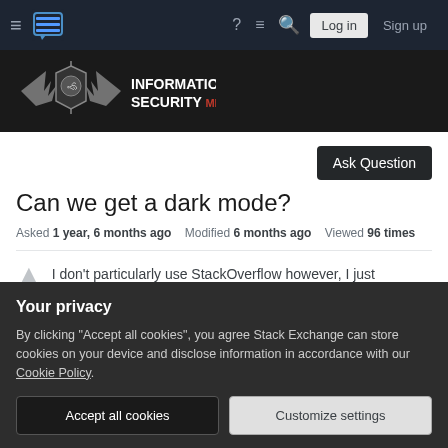Navigation bar: hamburger menu, Stack Exchange logo, help, chat, search, Log in, Sign up buttons
[Figure (logo): Information Security Meta site logo with winged lion shield emblem and text INFORMATION SECURITY META]
Ask Question
Can we get a dark mode?
Asked 1 year, 6 months ago   Modified 6 months ago   Viewed 96 times
I don't particularly use StackOverflow however, I just
Your privacy
By clicking "Accept all cookies", you agree Stack Exchange can store cookies on your device and disclose information in accordance with our Cookie Policy.
Accept all cookies   Customize settings